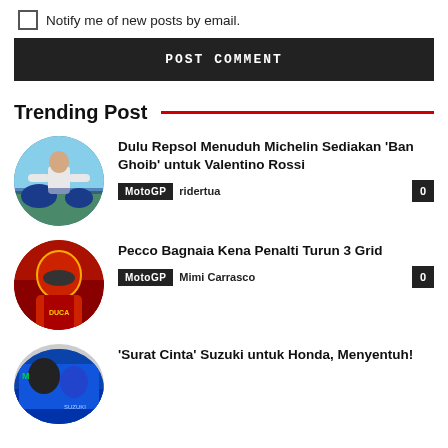Notify me of new posts by email.
POST COMMENT
Trending Post
[Figure (photo): Circular photo of a man in a white shirt standing near a Yamaha MotoGP motorcycle]
Dulu Repsol Menuduh Michelin Sediakan 'Ban Ghoib' untuk Valentino Rossi
MotoGP  ridertua  0
[Figure (photo): Circular photo of a MotoGP rider in red Ducati gear with helmet]
Pecco Bagnaia Kena Penalti Turun 3 Grid
MotoGP  Mimi Carrasco  0
[Figure (photo): Circular photo of MotoGP riders/team in blue Suzuki gear]
'Surat Cinta' Suzuki untuk Honda, Menyentuh!